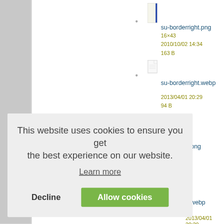[Figure (screenshot): Screenshot of a wiki file list page showing two file entries: 'su-borderright.png' (16x43, 2010/10/02 14:34, 163 B) with a thumbnail showing a thin blue vertical bar, and 'su-borderright.webp' (2013/04/01 20:29, 94 B) with a blank document thumbnail. A cookie consent banner overlays the bottom half of the page with text 'This website uses cookies to ensure you get the best experience on our website.' along with 'Learn more' link, 'Decline' button, and 'Allow cookies' green button.]